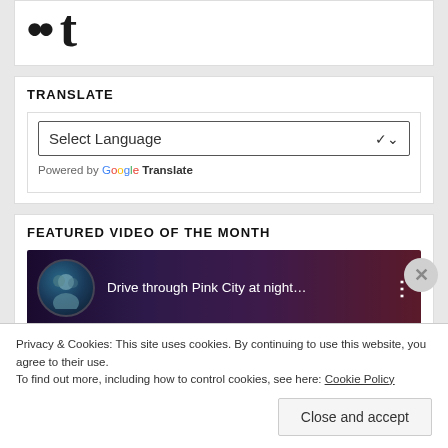[Figure (logo): Social media icons: two dots (Flickr style) and a stylized letter t (Tumblr)]
TRANSLATE
Select Language
Powered by Google Translate
FEATURED VIDEO OF THE MONTH
[Figure (screenshot): YouTube video thumbnail showing 'Drive through Pink City at night...' with a group avatar and dark night city background]
Privacy & Cookies: This site uses cookies. By continuing to use this website, you agree to their use.
To find out more, including how to control cookies, see here: Cookie Policy
Close and accept